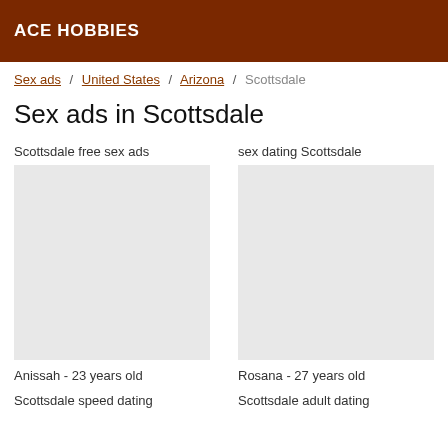ACE HOBBIES
Sex ads / United States / Arizona / Scottsdale
Sex ads in Scottsdale
Scottsdale free sex ads
sex dating Scottsdale
Anissah - 23 years old
Rosana - 27 years old
Scottsdale speed dating
Scottsdale adult dating